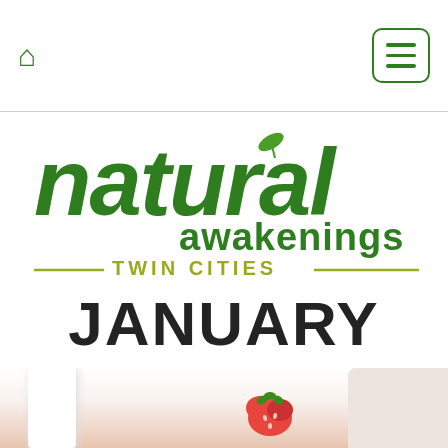Natural Awakenings Twin Cities — navigation bar with home icon and menu button
[Figure (logo): Natural Awakenings Twin Cities logo: large green bold italic 'natural' text with a leaf detail on the 'a', followed by 'awakenings' in smaller green text, and 'TWIN CITIES' in olive/yellow-green small caps with decorative lines on either side.]
JANUARY
[Figure (photo): Partial photo at bottom showing what appears to be a smoothie or food scene with strawberries, white ceramic items, and a neutral-toned background panel on the right.]